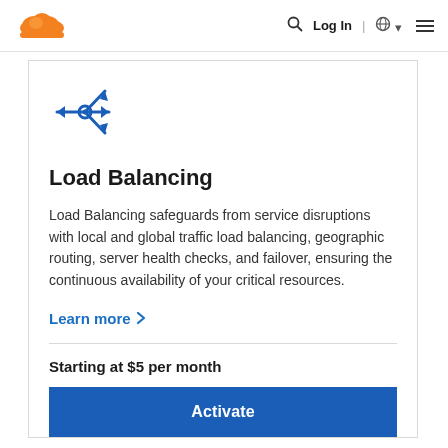Log In | 🌐 ▾  ☰
[Figure (logo): Cloudflare orange cloud logo]
[Figure (illustration): Blue load balancing network icon with arrows branching in multiple directions]
Load Balancing
Load Balancing safeguards from service disruptions with local and global traffic load balancing, geographic routing, server health checks, and failover, ensuring the continuous availability of your critical resources.
Learn more >
Starting at $5 per month
Activate